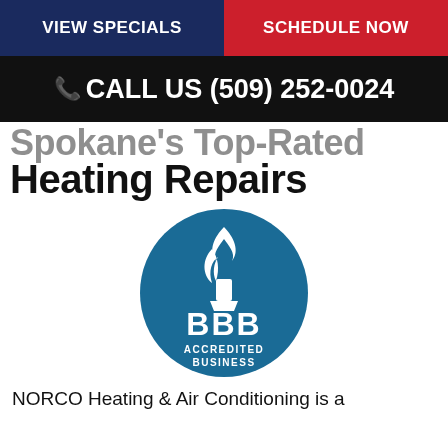VIEW SPECIALS | SCHEDULE NOW
CALL US (509) 252-0024
Spokane's Top-Rated Heating Repairs
[Figure (logo): BBB Accredited Business circular logo with torch flame icon on teal/blue background]
NORCO Heating & Air Conditioning is a